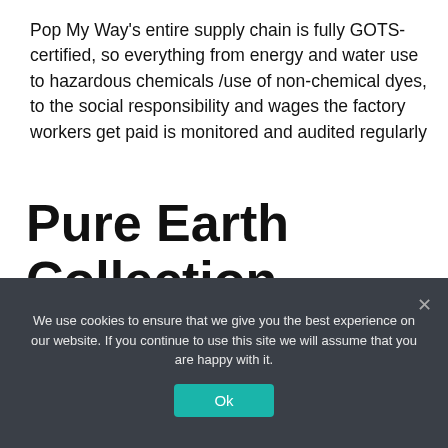Pop My Way's entire supply chain is fully GOTS-certified, so everything from energy and water use to hazardous chemicals /use of non-chemical dyes, to the social responsibility and wages the factory workers get paid is monitored and audited regularly
Pure Earth Collection
Pure Earth Collection is a multi-award-winning eco children's brand founded by Emma Bianco. Pure Earth Collection's ethos
We use cookies to ensure that we give you the best experience on our website. If you continue to use this site we will assume that you are happy with it. Ok